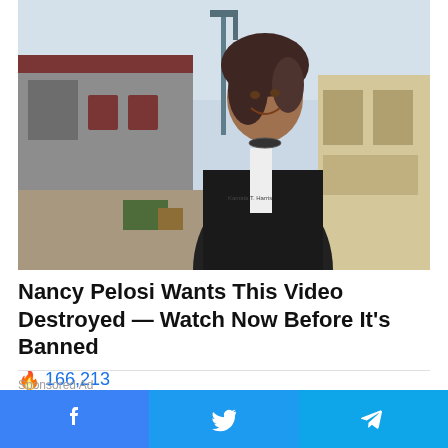[Figure (photo): Woman smiling in a dark jacket standing outdoors in front of industrial buildings with a street lamp in the background]
Nancy Pelosi Wants This Video Destroyed — Watch Now Before It's Banned
🔥 166,213
Sponsored Ad